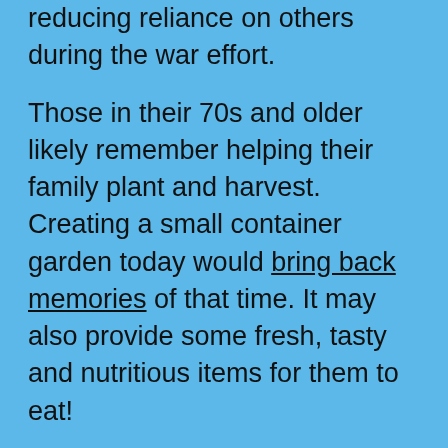reducing reliance on others during the war effort.
Those in their 70s and older likely remember helping their family plant and harvest. Creating a small container garden today would bring back memories of that time. It may also provide some fresh, tasty and nutritious items for them to eat!
Container Gardening
If your family member has some outdoor space with good light, try a container garden. They might enjoy a trip to a local garden